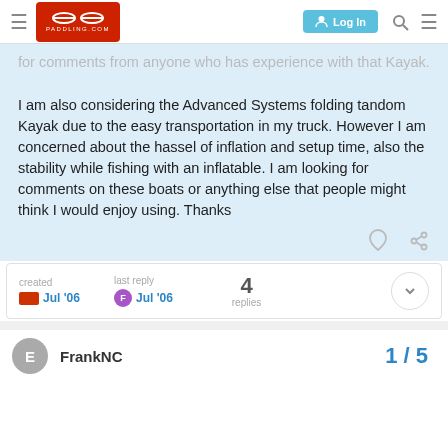PADDLING.COM — Log In
for comments from anyone who has experience with that Kayak.
I am also considering the Advanced Systems folding tandom Kayak due to the easy transportation in my truck. However I am concerned about the hassel of inflation and setup time, also the stability while fishing with an inflatable. I am looking for comments on these boats or anything else that people might think I would enjoy using. Thanks
created Jul '06   last reply Jul '06   4 replies
FrankNC   1 / 5